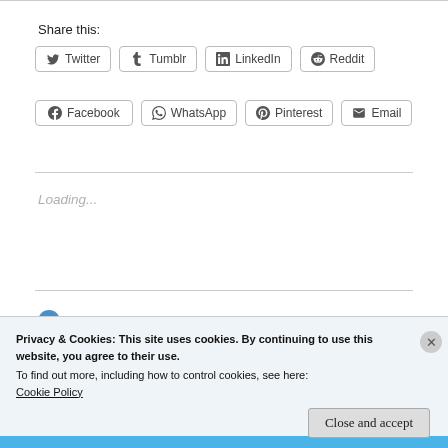Share this:
Twitter
Tumblr
LinkedIn
Reddit
Facebook
WhatsApp
Pinterest
Email
Loading...
Privacy & Cookies: This site uses cookies. By continuing to use this website, you agree to their use.
To find out more, including how to control cookies, see here:
Cookie Policy
Close and accept